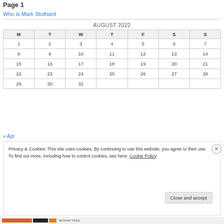Page 1
Who is Mark Stothard
| M | T | W | T | F | S | S |
| --- | --- | --- | --- | --- | --- | --- |
| 1 | 2 | 3 | 4 | 5 | 6 | 7 |
| 8 | 9 | 10 | 11 | 12 | 13 | 14 |
| 15 | 16 | 17 | 18 | 19 | 20 | 21 |
| 22 | 23 | 24 | 25 | 26 | 27 | 28 |
| 29 | 30 | 31 |  |  |  |  |
« Apr
Privacy & Cookies: This site uses cookies. By continuing to use this website, you agree to their use.
To find out more, including how to control cookies, see here: Cookie Policy